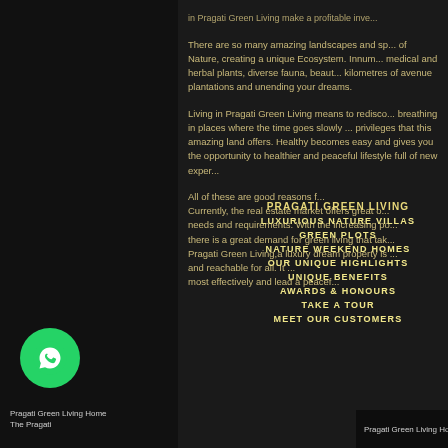in Pragati Green Living make a profitable inve...
There are so many amazing landscapes and sp... of Nature, creating a unique Ecosystem. Innum... medical and herbal plants, diverse fauna, beaut... kilometres of avenue plantations and unending your dreams.
Living in Pragati Green Living means to redisco... breathing in places where the time goes slowly ... privileges that this amazing land offers. Healthy becomes easy and gives you the opportunity to healthier and peaceful lifestyle full of new exper...
PRAGATI GREEN LIVING
LUXURIOUS NATURE VILLAS
GREEN PLOTS
All of these are good reasons f... Currently, the real estate market offers great o... needs and requirements. With the increasing po... there is a great demand for green living that tak... Pragati Green Living,a luxury dream property is ... and reachable for all. It ... most effectively and lead a peacef...
NATURE WEEKEND HOMES
OUR UNIQUE HIGHLIGHTS
UNIQUE BENEFITS
AWARDS & HONOURS
TAKE A TOUR
MEET OUR CUSTOMERS
Pragati Green Living Home   The Pragati   Find us   Powered by
[Figure (logo): WhatsApp chat button (green circle with phone/chat icon)]